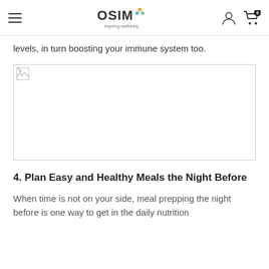OSIM — Inspiring wellbeing
levels, in turn boosting your immune system too.
[Figure (photo): Broken/missing image placeholder for a meal or food-related image]
4. Plan Easy and Healthy Meals the Night Before
When time is not on your side, meal prepping the night before is one way to get in the daily nutrition